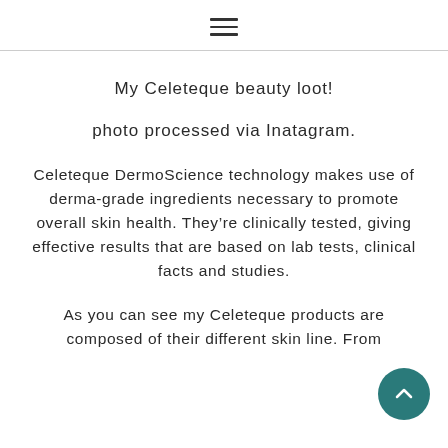☰ (hamburger menu icon)
My Celeteque beauty loot!
photo processed via Inatagram.
Celeteque DermoScience technology makes use of derma-grade ingredients necessary to promote overall skin health. They're clinically tested, giving effective results that are based on lab tests, clinical facts and studies.
As you can see my Celeteque products are composed of their different skin line. From